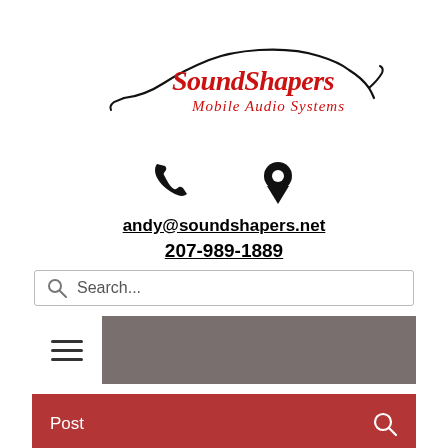[Figure (logo): SoundShapers Mobile Audio Systems logo — car silhouette outline with red cursive text 'SoundShapers' and italic red text 'Mobile Audio Systems' below]
[Figure (infographic): Phone icon and map pin/location icon side by side]
andy@soundshapers.net
207-989-1889
[Figure (screenshot): Search bar with magnifying glass icon and placeholder text 'Search...']
[Figure (screenshot): Navigation bar with hamburger menu icon on white background, rest is gray]
[Figure (screenshot): Red bar with text 'Post' on left and search icon on right]